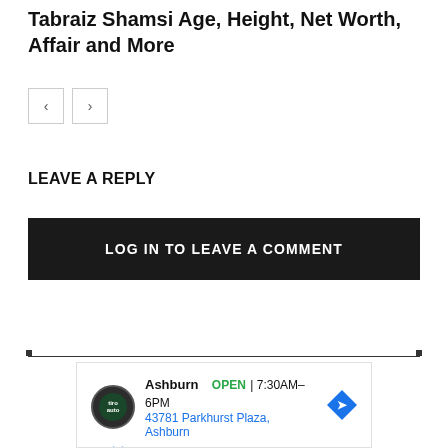Tabraiz Shamsi Age, Height, Net Worth, Affair and More
[Figure (other): Navigation previous and next arrow buttons]
LEAVE A REPLY
LOG IN TO LEAVE A COMMENT
[Figure (other): Advertisement banner showing Tiro Auto, Ashburn location, OPEN 7:30AM-6PM, 43781 Parkhurst Plaza, Ashburn]